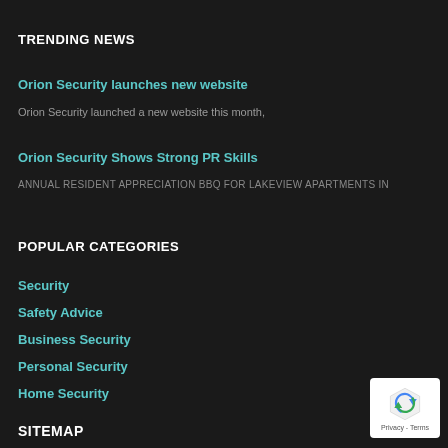TRENDING NEWS
Orion Security launches new website
Orion Security launched a new website this month,
Orion Security Shows Strong PR Skills
ANNUAL RESIDENT APPRECIATION BBQ FOR LAKEVIEW APARTMENTS IN
POPULAR CATEGORIES
Security
Safety Advice
Business Security
Personal Security
Home Security
SITEMAP